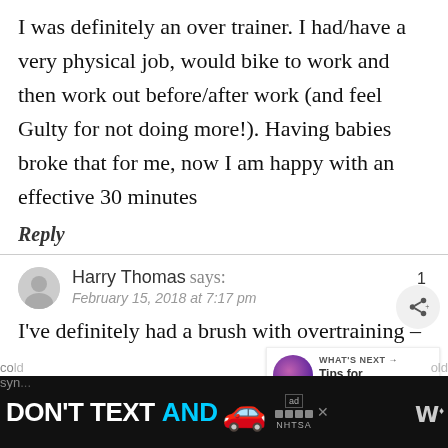I was definitely an over trainer. I had/have a very physical job, would bike to work and then work out before/after work (and feel Gulty for not doing more!). Having babies broke that for me, now I am happy with an effective 30 minutes
Reply
Harry Thomas says:
February 15, 2018 at 7:17 pm
I've definitely had a brush with overtraining –
[Figure (infographic): NHTSA DON'T TEXT AND DRIVE advertisement banner in black background with white and cyan text and a red car emoji]
WHAT'S NEXT → Tips for Picking the...